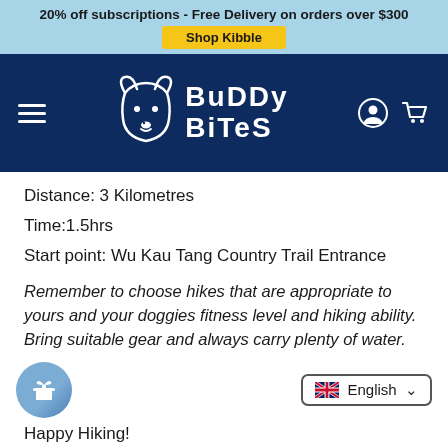20% off subscriptions - Free Delivery on orders over $300
Shop Kibble
[Figure (logo): Buddy Bites logo with cartoon dog face outline and stylized text 'BuDDy BiTeS' on dark navy background]
Distance: 3 Kilometres
Time:1.5hrs
Start point: Wu Kau Tang Country Trail Entrance
Remember to choose hikes that are appropriate to yours and your doggies fitness level and hiking ability. Bring suitable gear and always carry plenty of water.
Happy Hiking!